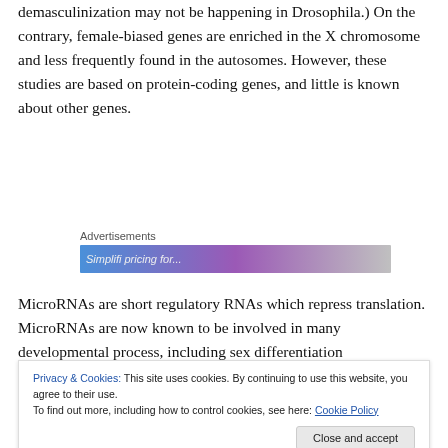demasculinization may not be happening in Drosophila.) On the contrary, female-biased genes are enriched in the X chromosome and less frequently found in the autosomes. However, these studies are based on protein-coding genes, and little is known about other genes.
[Figure (screenshot): Advertisements banner with blue-to-purple gradient, partially visible text 'Simplifi...']
MicroRNAs are short regulatory RNAs which repress translation. MicroRNAs are now known to be involved in many developmental process, including sex differentiation
Privacy & Cookies: This site uses cookies. By continuing to use this website, you agree to their use. To find out more, including how to control cookies, see here: Cookie Policy
the biology of microRNAs is substantially different to that